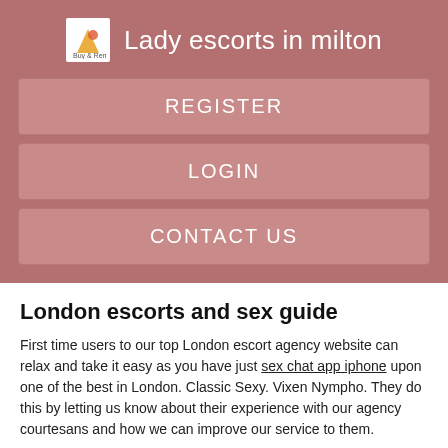Lady escorts in milton
REGISTER
LOGIN
CONTACT US
London escorts and sex guide
First time users to our top London escort agency website can relax and take it easy as you have just sex chat app iphone upon one of the best in London. Classic Sexy. Vixen Nympho. They do this by letting us know about their experience with our agency courtesans and how we can improve our service to them.
Sex Crazy.